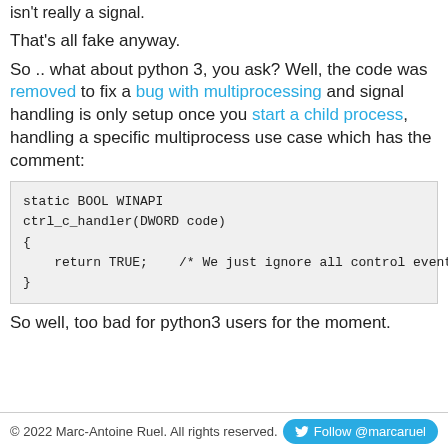isn't really a signal.
That's all fake anyway.
So .. what about python 3, you ask? Well, the code was removed to fix a bug with multiprocessing and signal handling is only setup once you start a child process, handling a specific multiprocess use case which has the comment:
static BOOL WINAPI
ctrl_c_handler(DWORD code)
{
    return TRUE;    /* We just ignore all control events. */
}
So well, too bad for python3 users for the moment.
© 2022 Marc-Antoine Ruel. All rights reserved.   Follow @marcaruel